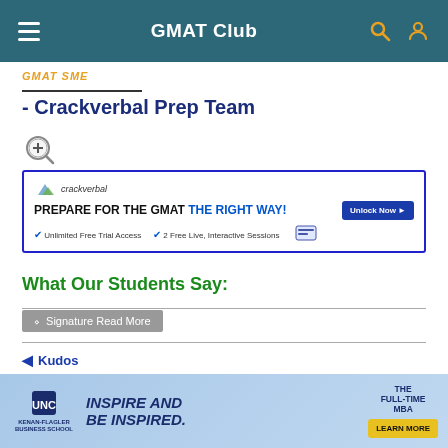GMAT Club
GMAT SME
- Crackverbal Prep Team
[Figure (screenshot): Crackverbal advertisement banner: 'PREPARE FOR THE GMAT THE RIGHT WAY!' with Unlock Now button, checkmarks for Unlimited Free Trial Access and 2 Free Live, Interactive Sessions]
What Our Students Say:
Signature Read More
Kudos
[Figure (screenshot): UNC Kenan-Flagler Business School advertisement: 'INSPIRE AND BE INSPIRED. THE FULL-TIME MBA' with LEARN MORE button]